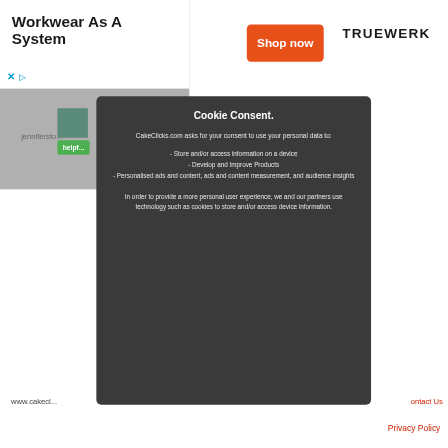[Figure (screenshot): Screenshot of a webpage showing an ad banner at the top with 'Workwear As A System', an orange 'Shop now' button, and 'TRUEWERK' logo, overlaid by a dark cookie consent modal popup from CakeClicks.com]
Workwear As A System
Shop now
TRUEWERK
Cookie Consent.
CakeClicks.com asks for your consent to use your personal data to:
- Store and/or access information on a device
- Develop and Improve Products
- Personalised ads and content, ads and content measurement, and audience insights
In order to provide a more personal user experience, we and our partners use technology such as cookies to store and/or access device information.
www.cakecl...
ontact Us
Privacy Policy